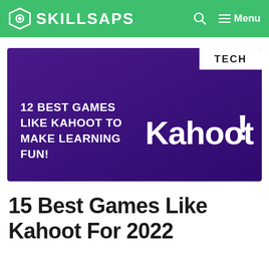SKILLSAPS
[Figure (illustration): Dark purple banner with 'TECH' tag in upper right corner. Left side text in white bold uppercase: '12 BEST GAMES LIKE KAHOOT TO MAKE LEARNING FUN!'. Right side shows the 'Kahoot!' logo in large white bold text.]
15 Best Games Like Kahoot For 2022